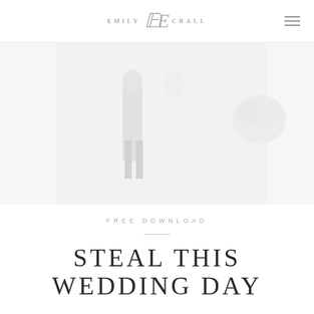EMILY CE CRALL
[Figure (photo): Faded wedding photograph showing a bride and groom walking, with the bride holding a bouquet of flowers. Image is heavily washed out / faded white.]
FREE DOWNLOAD
STEAL THIS WEDDING DAY